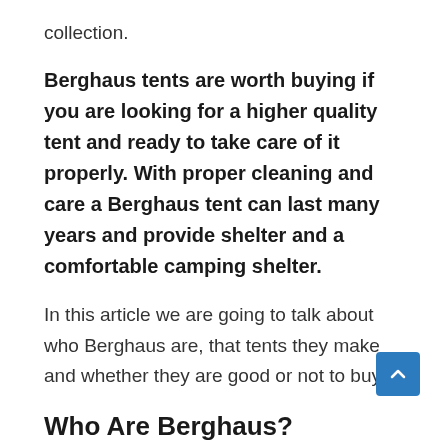collection.
Berghaus tents are worth buying if you are looking for a higher quality tent and ready to take care of it properly. With proper cleaning and care a Berghaus tent can last many years and provide shelter and a comfortable camping shelter.
In this article we are going to talk about who Berghaus are, that tents they make and whether they are good or not to buy.
Who Are Berghaus?